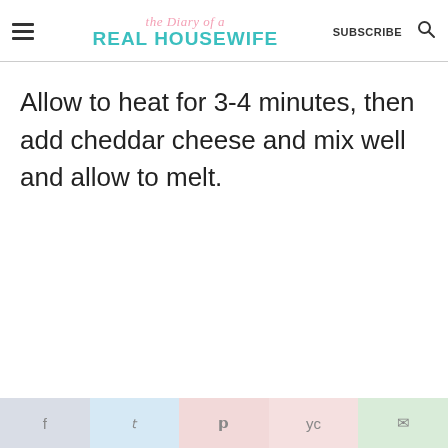the Diary of a REAL HOUSEWIFE | SUBSCRIBE
Allow to heat for 3-4 minutes, then add cheddar cheese and mix well and allow to melt.
[Figure (other): Social share bar with icons for Facebook, Twitter, Pinterest, Yummly, and Email]